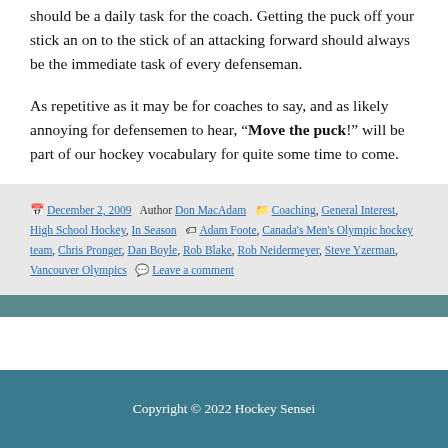should be a daily task for the coach. Getting the puck off your stick an on to the stick of an attacking forward should always be the immediate task of every defenseman.
As repetitive as it may be for coaches to say, and as likely annoying for defensemen to hear, "Move the puck!" will be part of our hockey vocabulary for quite some time to come.
Posted December 2, 2009 Author Don MacAdam Categories Coaching, General Interest, High School Hockey, In Season Tags Adam Foote, Canada's Men's Olympic hockey team, Chris Pronger, Dan Boyle, Rob Blake, Rob Neidermeyer, Steve Yzerman, Vancouver Olympics Leave a comment
Copyright © 2022 Hockey Sensei